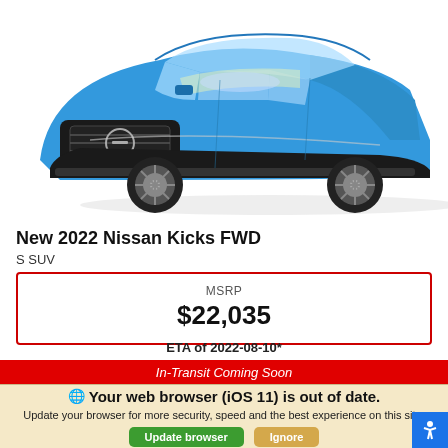[Figure (photo): Blue 2022 Nissan Kicks FWD SUV shown from front-left angle on white background]
New 2022 Nissan Kicks FWD
S SUV
| MSRP |
| --- |
| $22,035 |
ETA of 2022-08-10*
In-Transit Coming Soon
Your web browser (iOS 11) is out of date. Update your browser for more security, speed and the best experience on this site.